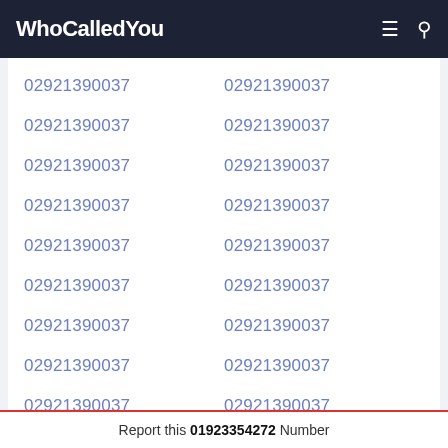WhoCalledYou
02921390037  02921390037
02921390037  02921390037
02921390037  02921390037
02921390037  02921390037
02921390037  02921390037
02921390037  02921390037
02921390037  02921390037
02921390037  02921390037
02921390037  02921390037
Report this 01923354272 Number